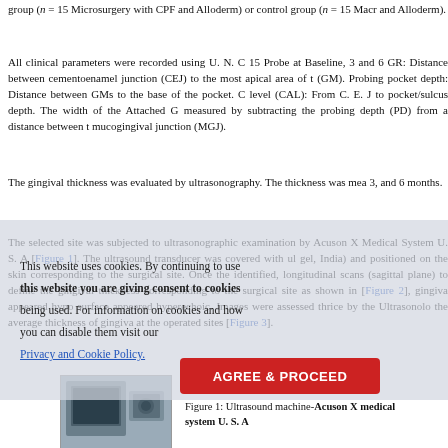group (n = 15 Microsurgery with CPF and Alloderm) or control group (n = 15 Macr and Alloderm).
All clinical parameters were recorded using U. N. C 15 Probe at Baseline, 3 and 6 GR: Distance between cementoenamel junction (CEJ) to the most apical area of t (GM). Probing pocket depth: Distance between GMs to the base of the pocket. C level (CAL): From C. E. J to pocket/sulcus depth. The width of the Attached G measured by subtracting the probing depth (PD) from a distance between t mucogingival junction (MGJ).
The gingival thickness was evaluated by ultrasonography. The thickness was mea 3, and 6 months.
The selected site was subjected to ultrasonographic examination by Acuson X Medical System U. S. A [Figure 1]. The ultrasound transducer was covered with ul gel, India) and positioned on the skin corresponding to the surgical site. Once the identified, longitudinal scans (sagittal plane) to define the gingival thickness corresponding to the surgical site as shown in [Figure 2], gingiva appeared hypo surface appeared hyperechoic. Images were assessed thrice by the Ultrasonolo the average thickness of gingiva at the operated sites [Figure 3].
[Figure (photo): Ultrasound machine - Acuson X medical system U.S.A]
Figure 1: Ultrasound machine-Acuson X medical system U. S. A